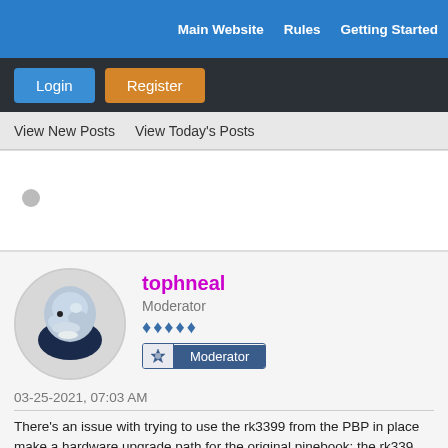Main Website   Rules   Getting Started
Login   Register
View New Posts   View Today's Posts
tophneal
Moderator
Moderator
03-25-2021, 07:03 AM
There's an issue with trying to use the rk3399 from the PBP in place make a hardware upgrade path for the original pinebook: the rk339